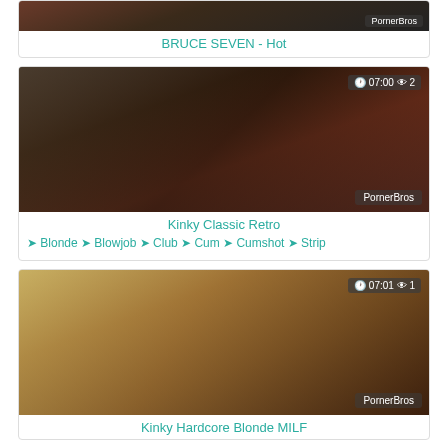[Figure (screenshot): Partial video thumbnail for BRUCE SEVEN - Hot]
BRUCE SEVEN - Hot
[Figure (screenshot): Video thumbnail for Kinky Classic Retro with overlay showing 07:00 duration and 2 views, watermark PornerBros]
Kinky Classic Retro
Blonde  Blowjob  Club  Cum  Cumshot  Strip
[Figure (screenshot): Video thumbnail for Kinky Hardcore Blonde MILF with overlay showing 07:01 duration and 1 view, watermark PornerBros]
Kinky Hardcore Blonde MILF